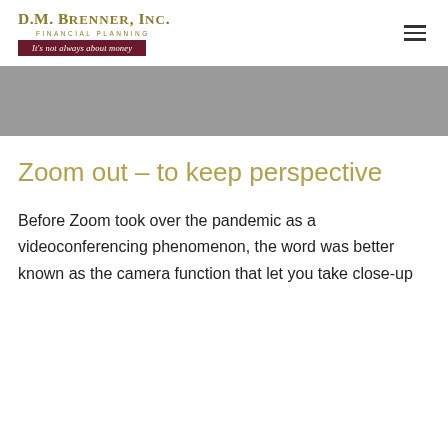[Figure (logo): D.M. Brenner, Inc. Financial Planning logo with tagline 'It's not always about money']
Zoom out – to keep perspective
Before Zoom took over the pandemic as a videoconferencing phenomenon, the word was better known as the camera function that let you take close-up photos from far